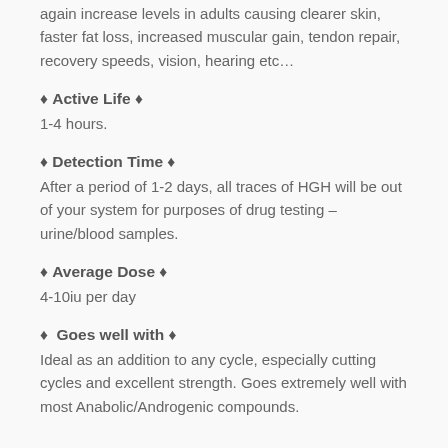again increase levels in adults causing clearer skin, faster fat loss, increased muscular gain, tendon repair, recovery speeds, vision, hearing etc…
♦ Active Life ♦
1-4 hours.
♦ Detection Time ♦
After a period of 1-2 days, all traces of HGH will be out of your system for purposes of drug testing – urine/blood samples.
♦ Average Dose ♦
4-10iu per day
♦  Goes well with ♦
Ideal as an addition to any cycle, especially cutting cycles and excellent strength. Goes extremely well with most Anabolic/Androgenic compounds.